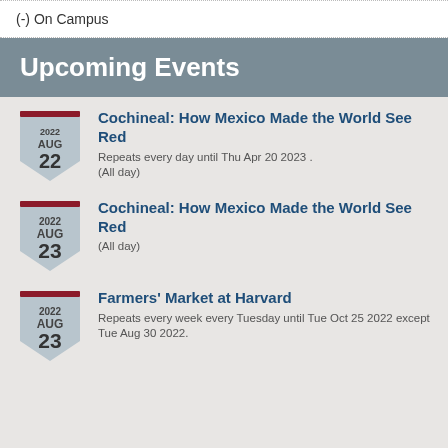(-) On Campus
Upcoming Events
Cochineal: How Mexico Made the World See Red
Repeats every day until Thu Apr 20 2023 .
(All day)
Cochineal: How Mexico Made the World See Red
(All day)
Farmers' Market at Harvard
Repeats every week every Tuesday until Tue Oct 25 2022 except Tue Aug 30 2022.